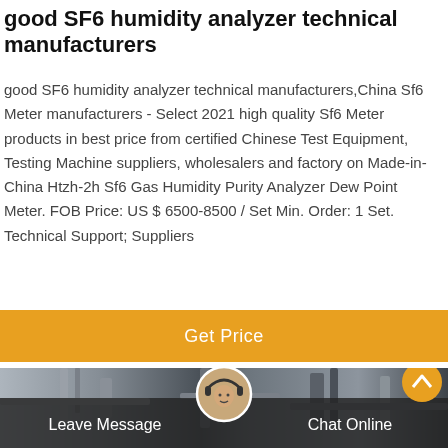good SF6 humidity analyzer technical manufacturers
good SF6 humidity analyzer technical manufacturers,China Sf6 Meter manufacturers - Select 2021 high quality Sf6 Meter products in best price from certified Chinese Test Equipment, Testing Machine suppliers, wholesalers and factory on Made-in-China Htzh-2h Sf6 Gas Humidity Purity Analyzer Dew Point Meter. FOB Price: US $ 6500-8500 / Set Min. Order: 1 Set. Technical Support; Suppliers
Get Price
[Figure (photo): Industrial equipment photo showing pipes and machinery, with a customer service avatar overlay and chat buttons at the bottom]